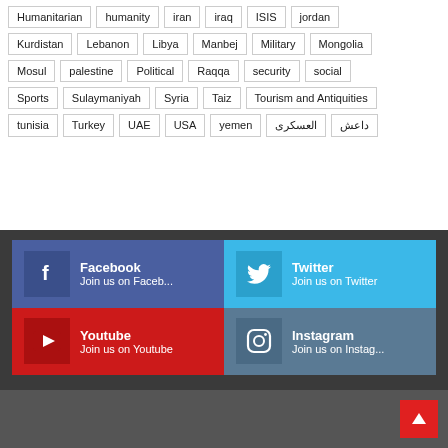Humanitarian
humanity
iran
iraq
ISIS
jordan
Kurdistan
Lebanon
Libya
Manbej
Military
Mongolia
Mosul
palestine
Political
Raqqa
security
social
Sports
Sulaymaniyah
Syria
Taiz
Tourism and Antiquities
tunisia
Turkey
UAE
USA
yemen
العسكری
داعش
[Figure (infographic): Social media links panel with Facebook, Twitter, Youtube, and Instagram buttons, each showing platform icon, name, and join message.]